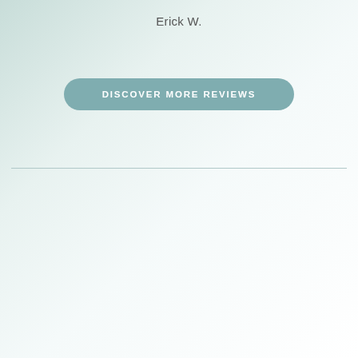Erick W.
DISCOVER MORE REVIEWS